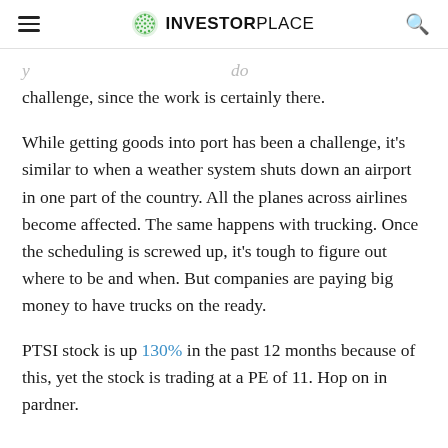InvestorPlace
challenge, since the work is certainly there.
While getting goods into port has been a challenge, it’s similar to when a weather system shuts down an airport in one part of the country. All the planes across airlines become affected. The same happens with trucking. Once the scheduling is screwed up, it’s tough to figure out where to be and when. But companies are paying big money to have trucks on the ready.
PTSI stock is up 130% in the past 12 months because of this, yet the stock is trading at a PE of 11. Hop on in pardner.